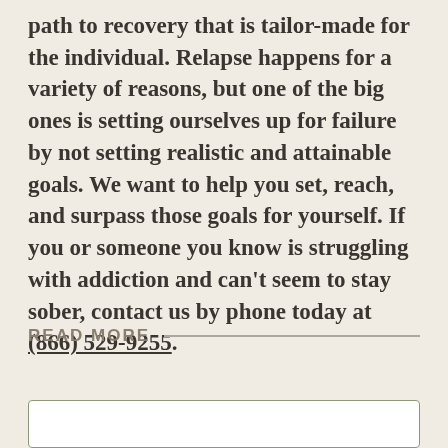path to recovery that is tailor-made for the individual. Relapse happens for a variety of reasons, but one of the big ones is setting ourselves up for failure by not setting realistic and attainable goals. We want to help you set, reach, and surpass those goals for yourself. If you or someone you know is struggling with addiction and can't seem to stay sober, contact us by phone today at (866) 529-9255.
READ MORE